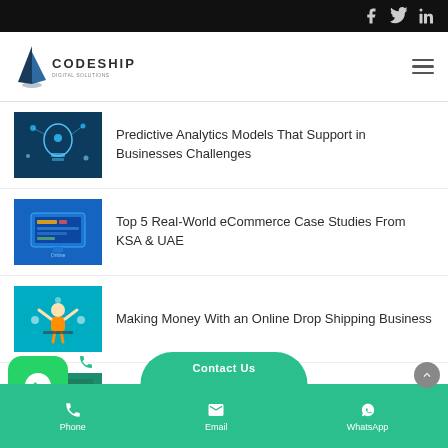CODESHIP - website with social icons (Facebook, Twitter, LinkedIn) in top bar and navigation hamburger menu
[Figure (screenshot): Thumbnail image: light bulb with network nodes on dark blue background (Predictive Analytics)]
Predictive Analytics Models That Support in Businesses Challenges
[Figure (screenshot): Thumbnail image: Online eCommerce dashboard with colorful UI elements on blue background]
Top 5 Real-World eCommerce Case Studies From KSA & UAE
[Figure (screenshot): Thumbnail image: person at desk with success icons on teal/cyan background (Drop Shipping)]
Making Money With an Online Drop Shipping Business
[Figure (screenshot): Thumbnail image: robot/AI figure with colorful tech icons on green background]
How Artificial Intelligence Can Support in eCommerce
Contact Us | Phone | Email | WhatsApp